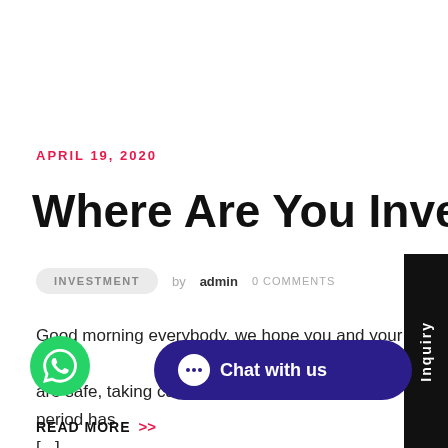APRIL 19, 2020
Where Are You Investing?
INVESTMENT  by admin  0 COMMENTS
Good morning everybody, we hope you and your family are safe, taking care and staying at home. This period has [...]
READ MORE >>